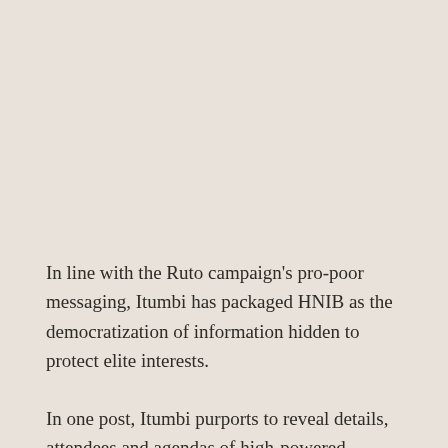In line with the Ruto campaign's pro-poor messaging, Itumbi has packaged HNIB as the democratization of information hidden to protect elite interests.
In one post, Itumbi purports to reveal details, attendees and agendas of high-powered meetings involving government officials and politicians keen on crushing the Ruto campaign. In another, he publishes scholarship